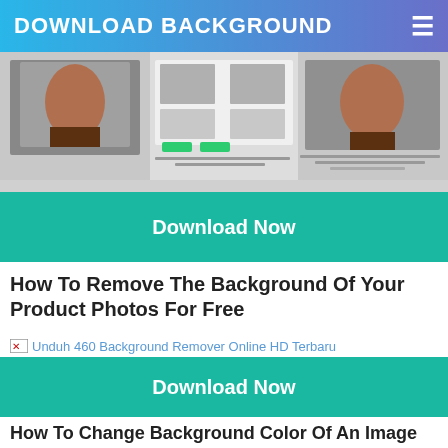DOWNLOAD BACKGROUND
[Figure (screenshot): Screenshot of a background remover web app interface showing three panels with product images and instructional text]
Download Now
How To Remove The Background Of Your Product Photos For Free
[Figure (photo): Broken image placeholder: Unduh 460 Background Remover Online HD Terbaru]
Download Now
How To Change Background Color Of An Image To White Using